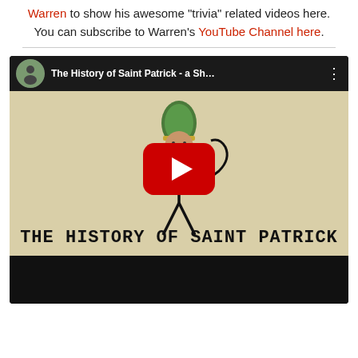Warren to show his awesome "trivia" related videos here. You can subscribe to Warren's YouTube Channel here.
[Figure (screenshot): YouTube video thumbnail for 'The History of Saint Patrick - a Sh...' showing a stick figure with a bishop's mitre holding a shepherd's crook, with the text 'THE HISTORY OF SAINT PATRICK' at the bottom. A red YouTube play button is overlaid in the center.]